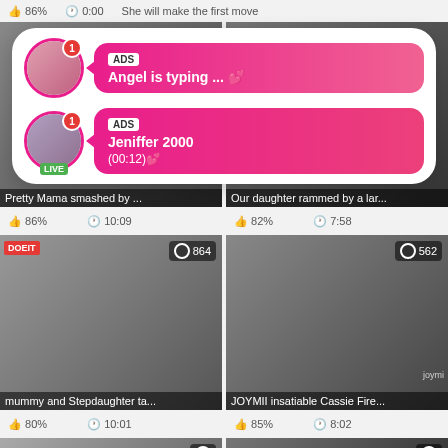86%   0:00   She will make the first move
[Figure (screenshot): Ad overlay popup with two notification bubbles over a video grid. First bubble: avatar with notification badge, pink gradient message box with 'ADS' tag and text 'Angel is typing ... 💕'. Second bubble: avatar with LIVE badge and notification badge, pink gradient message box with 'ADS' tag, 'Jeniffer 2000' and '(00:12)💕'. Below are video thumbnails with titles 'Pretty Mama smashed by...', 'Our daughter rammed by a lar...', 'mummy and Stepdaughter ta...', 'JOYMII insatiable Cassie Fire...' with view counts 546, 864, 562 and like percentages 86%, 82%, 80%, 85% and durations 10:09, 7:58, 10:01, 8:02.]